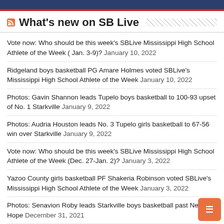What's new on SB Live
Vote now: Who should be this week's SBLive Mississippi High School Athlete of the Week ( Jan. 3-9)? January 10, 2022
Ridgeland boys basketball PG Amare Holmes voted SBLive's Mississippi High School Athlete of the Week January 10, 2022
Photos: Gavin Shannon leads Tupelo boys basketball to 100-93 upset of No. 1 Starkville January 9, 2022
Photos: Audria Houston leads No. 3 Tupelo girls basketball to 67-56 win over Starkville January 9, 2022
Vote now: Who should be this week's SBLive Mississippi High School Athlete of the Week (Dec. 27-Jan. 2)? January 3, 2022
Yazoo County girls basketball PF Shakeria Robinson voted SBLive's Mississippi High School Athlete of the Week January 3, 2022
Photos: Senavion Roby leads Starkville boys basketball past New Hope December 31, 2021
Photos: Canton girls basketball beats New Hope 40-33 in New Hope Classic December 31, 2021
Short-handed due to COVID-19, CBC still able to outlast Raymond (Miss.) at King Cotton December 27, 2021